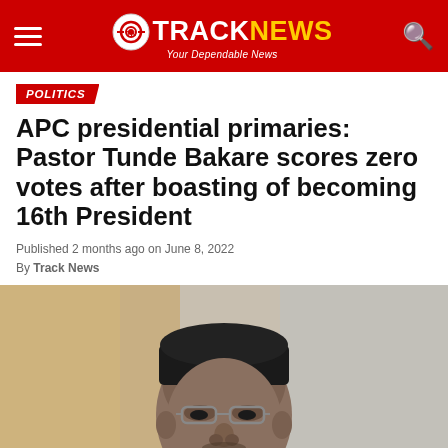TRACK NEWS — Your Dependable News
POLITICS
APC presidential primaries: Pastor Tunde Bakare scores zero votes after boasting of becoming 16th President
Published 2 months ago on June 8, 2022
By Track News
[Figure (photo): Portrait photo of Pastor Tunde Bakare wearing glasses and a black kufi cap, in dark clothing, seated, facing slightly left]